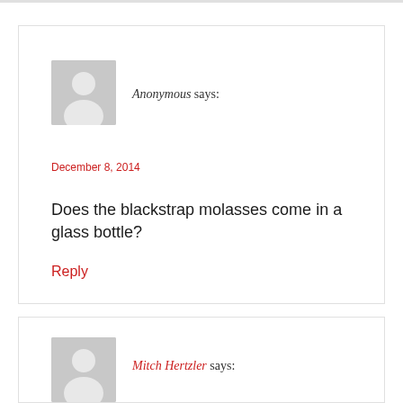Anonymous says: December 8, 2014 — Does the blackstrap molasses come in a glass bottle? Reply
Mitch Hertzler says: